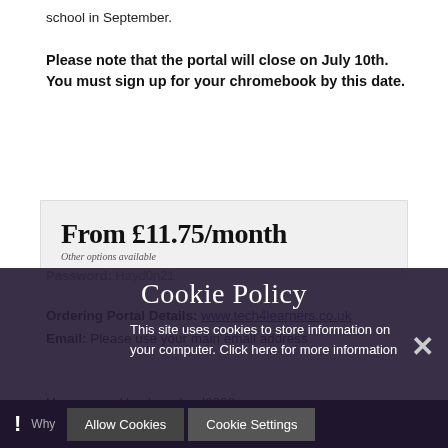school in September.
Please note that the portal will close on July 10th. You must sign up for your chromebook by this date.
[Figure (other): Pricing box with text 'From £11.75/month' and 'Other options available']
Ordering Portal Details: www.tech4learners.co.uk
Email: Please use your main email address
Username: Haydonschool2022
Password: [partially visible]
Cookie Policy
This site uses cookies to store information on your computer. Click here for more information
Allow Cookies | Cookie Settings